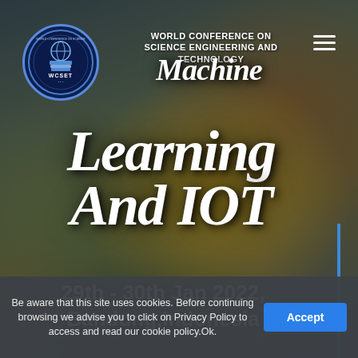[Figure (logo): WCSET circular logo with books and globe icon, blue circular border with text around ring]
WORLD CONFERENCE ON
SCIENCE ENGINEERING AND
TECHNOLOGY
Machine
Learning
And IOT
29th - 30th Jan 2022,
Bandung,Indonesia
Be aware that this site uses cookies. Before continuing browsing we advise you to click on Privacy Policy to access and read our cookie policy.Ok.
Accept